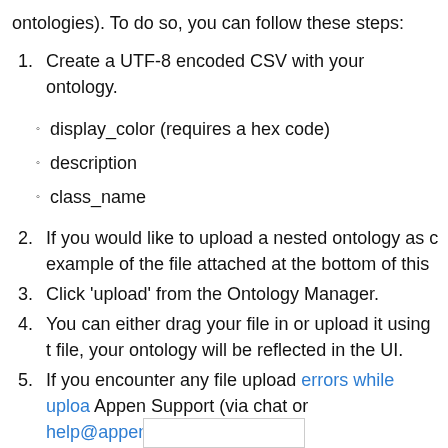ontologies). To do so, you can follow these steps:
1. Create a UTF-8 encoded CSV with your ontology.
display_color (requires a hex code)
description
class_name
2. If you would like to upload a nested ontology as c example of the file attached at the bottom of this
3. Click ‘upload’ from the Ontology Manager.
4. You can either drag your file in or upload it using t file, your ontology will be reflected in the UI.
5. If you encounter any file upload errors while uploa Appen Support (via chat or help@appen.com) and